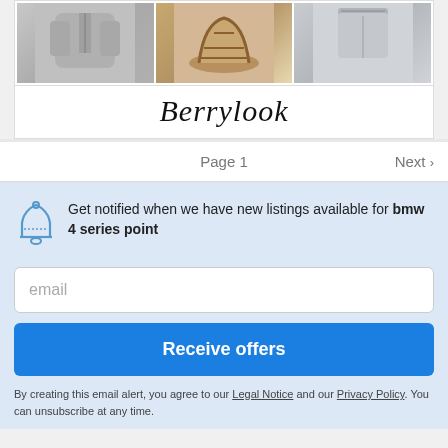[Figure (photo): Product grid showing three clothing items: a gray fuzzy zip-up hoodie jacket, khaki/tan woven flat sandals, and gray drawstring shorts. Below the grid is the Berrylook brand name in stylized cursive script.]
Page 1
Next >
Get notified when we have new listings available for bmw 4 series point
email
Receive offers
By creating this email alert, you agree to our Legal Notice and our Privacy Policy. You can unsubscribe at any time.